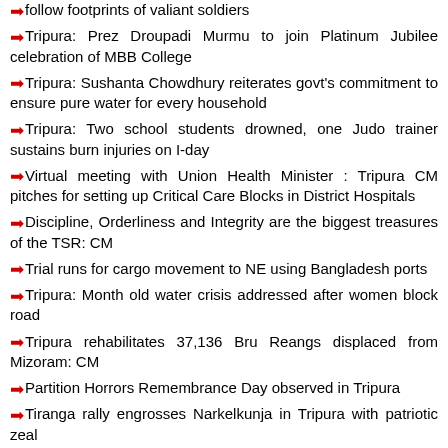follow footprints of valiant soldiers
Tripura: Prez Droupadi Murmu to join Platinum Jubilee celebration of MBB College
Tripura: Sushanta Chowdhury reiterates govt's commitment to ensure pure water for every household
Tripura: Two school students drowned, one Judo trainer sustains burn injuries on I-day
Virtual meeting with Union Health Minister : Tripura CM pitches for setting up Critical Care Blocks in District Hospitals
Discipline, Orderliness and Integrity are the biggest treasures of the TSR: CM
Trial runs for cargo movement to NE using Bangladesh ports
Tripura: Month old water crisis addressed after women block road
Tripura rehabilitates 37,136 Bru Reangs displaced from Mizoram: CM
Partition Horrors Remembrance Day observed in Tripura
Tiranga rally engrosses Narkelkunja in Tripura with patriotic zeal
Modi-led Govt working for benefits of people, says Tripura ICA Minister
Rejoining: Terminated 10323 teachers in Tripura serve 7 days ultimatum